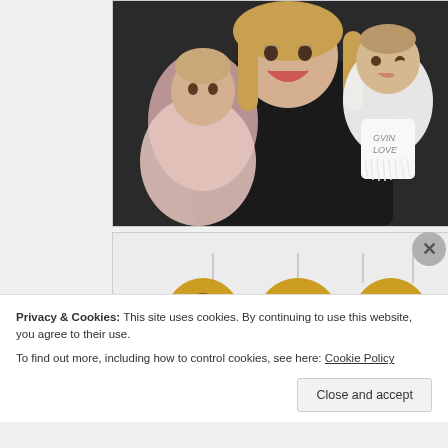[Figure (photo): A woman with blonde hair smiling broadly, holding a baby in a white fringe outfit, while another young child in a pink lacy dress is in the foreground. A dark background, close-up portrait-style photo.]
[Figure (photo): Gold letter balloons spelling 'ONE' hanging against a light, almost white background. Birthday themed decoration photo.]
Privacy & Cookies: This site uses cookies. By continuing to use this website, you agree to their use.
To find out more, including how to control cookies, see here: Cookie Policy
Close and accept